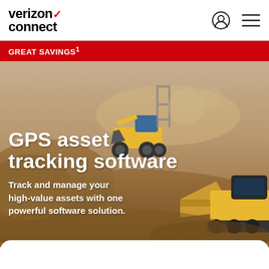verizon connect
GREAT SAVINGS¹
[Figure (photo): Construction site with yellow bulldozers/front loaders moving dirt, dusty outdoor environment]
GPS asset tracking software
Track and manage your high-value assets with one powerful software solution.